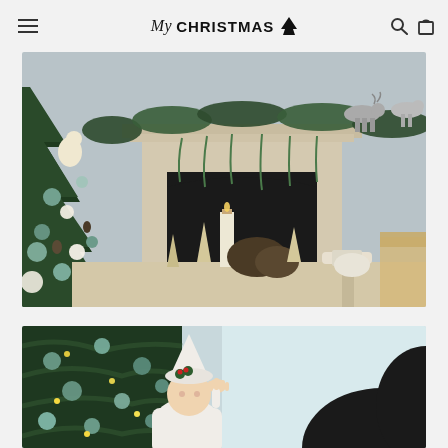My CHRISTMAS (tree icon) — navigation header with hamburger menu, logo, search and bag icons
[Figure (photo): A decorated Christmas scene showing a fireplace mantel adorned with greenery garland, silver reindeer figurines, hanging icicle-like decorations. On the left, a heavily decorated Christmas tree with teal/sage green and white ornaments, pine cones, elfin figurines. In the foreground, a dining table set for Christmas with a candle, pine cone centerpiece, small bottle-brush trees, and Christmas crackers.]
[Figure (photo): Close-up of an elf figurine wearing a white knit sweater and white hat with holly, peeking through green Christmas tree branches with teal ornaments and lights. In the background, the dark hair of a person is visible.]